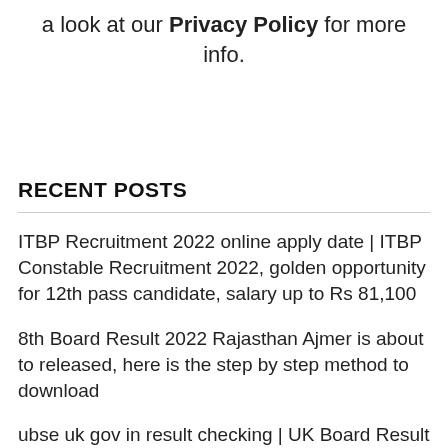a look at our Privacy Policy for more info.
RECENT POSTS
ITBP Recruitment 2022 online apply date | ITBP Constable Recruitment 2022, golden opportunity for 12th pass candidate, salary up to Rs 81,100
8th Board Result 2022 Rajasthan Ajmer is about to released, here is the step by step method to download
ubse uk gov in result checking | UK Board Result Date 2022 Class 12, 10th results has released, at ubse.uk.gov.in and uaresults.nic.in